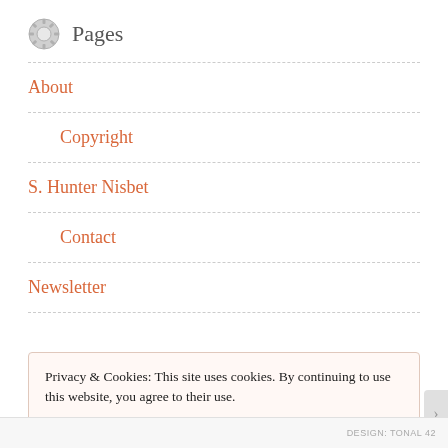Pages
About
Copyright
S. Hunter Nisbet
Contact
Newsletter
Privacy & Cookies: This site uses cookies. By continuing to use this website, you agree to their use.
To find out more, including how to control cookies, see here: Cookie Policy
Close and accept